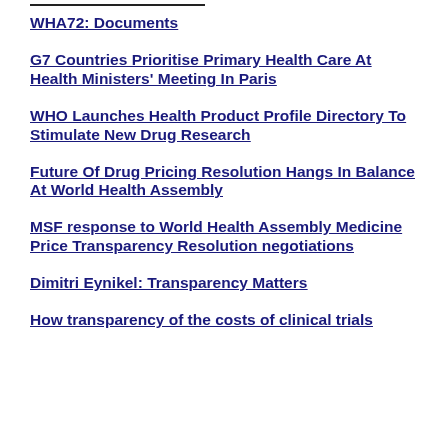WHA72: Documents
G7 Countries Prioritise Primary Health Care At Health Ministers' Meeting In Paris
WHO Launches Health Product Profile Directory To Stimulate New Drug Research
Future Of Drug Pricing Resolution Hangs In Balance At World Health Assembly
MSF response to World Health Assembly Medicine Price Transparency Resolution negotiations
Dimitri Eynikel: Transparency Matters
How transparency of the costs of clinical trials